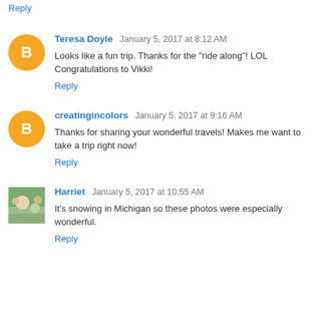Reply
Teresa Doyle  January 5, 2017 at 8:12 AM
Looks like a fun trip. Thanks for the "ride along"! LOL Congratulations to Vikki!
Reply
creatingincolors  January 5, 2017 at 9:16 AM
Thanks for sharing your wonderful travels! Makes me want to take a trip right now!
Reply
Harriet  January 5, 2017 at 10:55 AM
It's snowing in Michigan so these photos were especially wonderful.
Reply